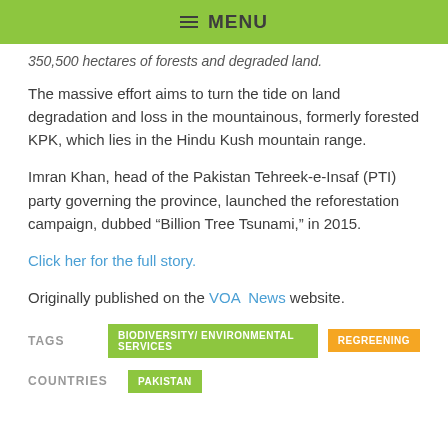MENU
350,500 hectares of forests and degraded land.
The massive effort aims to turn the tide on land degradation and loss in the mountainous, formerly forested KPK, which lies in the Hindu Kush mountain range.
Imran Khan, head of the Pakistan Tehreek-e-Insaf (PTI) party governing the province, launched the reforestation campaign, dubbed “Billion Tree Tsunami,” in 2015.
Click her for the full story.
Originally published on the VOA News website.
TAGS  BIODIVERSITY/ ENVIRONMENTAL SERVICES  REGREENING
COUNTRIES  PAKISTAN